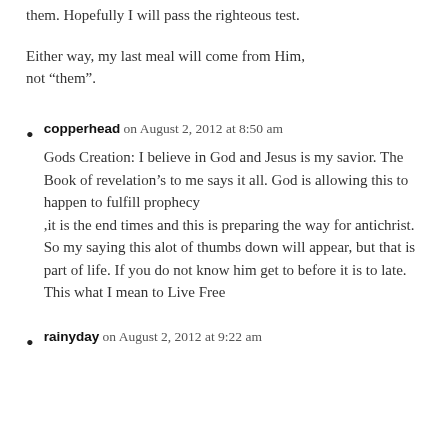them. Hopefully I will pass the righteous test.
Either way, my last meal will come from Him, not “them”.
copperhead on August 2, 2012 at 8:50 am
Gods Creation: I believe in God and Jesus is my savior. The Book of revelation’s to me says it all. God is allowing this to happen to fulfill prophecy
,it is the end times and this is preparing the way for antichrist. So my saying this alot of thumbs down will appear, but that is part of life. If you do not know him get to before it is to late. This what I mean to Live Free
rainyday on August 2, 2012 at 9:22 am